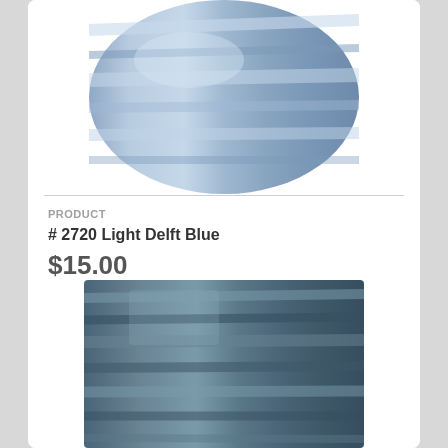[Figure (photo): Close-up photo of a spool of light delft blue thread, showing wound thread texture]
PRODUCT
# 2720 Light Delft Blue
$15.00
[Figure (photo): Close-up photo of a spool of darker steel blue/denim colored thread, showing wound thread texture]